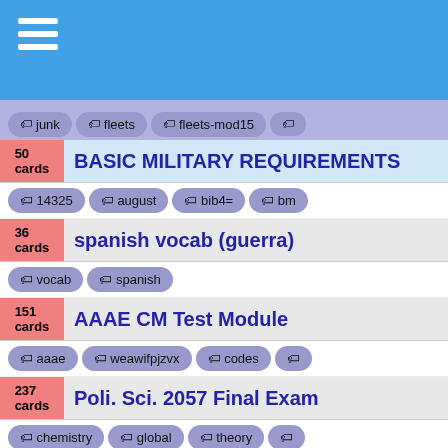Navigation menu header bar
junk | fleets | fleets-mod15
50 cards - BASIC MILITARY REQUIREMENTS | 14325 | august | bib4= | bm
36 cards - spanish vocab (guerra) | vocab | spanish
151 cards - AAAE CM Test Module | aaae | weawifpjzvx | codes
237 cards - Poli. Sci. 2057 Final Exam | chemistry | global | theory
240 cards - psych 305 midterm 1 | pwer-of-contin | psychology | biology
147 cards - European History Chapter 5 | euro | five | history | french
27 cards - poly s final